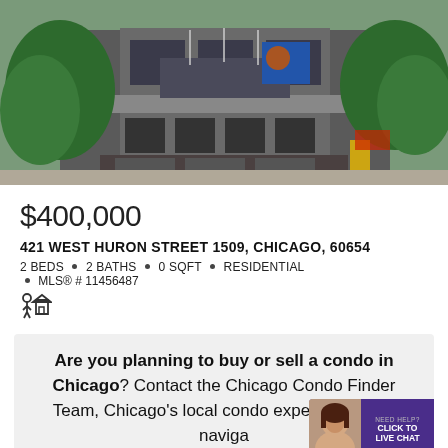[Figure (photo): Exterior photo of a multi-story urban building with dark facade, large windows, and trees in the foreground]
$400,000
421 WEST HURON STREET 1509, CHICAGO, 60654
2 BEDS • 2 BATHS • 0 SQFT • RESIDENTIAL • MLS® # 11456487
Are you planning to buy or sell a condo in Chicago? Contact the Chicago Condo Finder Team, Chicago's local condo experts, for help naviga...